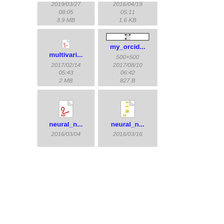[Figure (screenshot): File browser grid view showing file tiles with icons, names, dates, and sizes. Partial top row shows two files with dates 2019/03/27 08:05 3.9 MB and 2016/04/19 05:11 1.6 KB. Middle row: multivari... (PDF icon, 2017/02/14 05:43, 2 MB), my_orcid... (QR code image, 500×500, 2017/08/10 06:42, 827 B), my... (partial). Bottom row: neural_n... (PDF icon, 2016/03/04), neural_n... (ZIP icon, 2016/03/16), ne... (partial).]